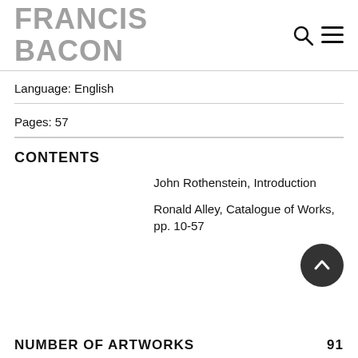FRANCIS BACON
Language: English
Pages: 57
CONTENTS
John Rothenstein, Introduction
Ronald Alley, Catalogue of Works, pp. 10-57
NUMBER OF ARTWORKS
91